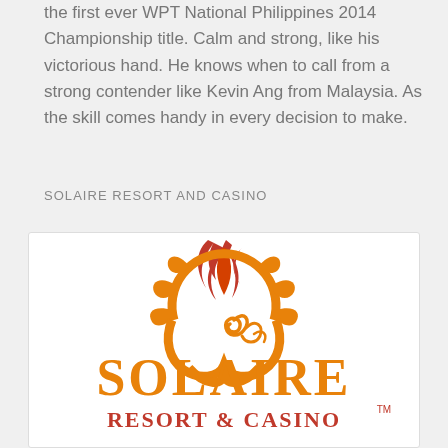the first ever WPT National Philippines 2014 Championship title. Calm and strong, like his victorious hand. He knows when to call from a strong contender like Kevin Ang from Malaysia. As the skill comes handy in every decision to make.
SOLAIRE RESORT AND CASINO
[Figure (logo): Solaire Resort and Casino logo — orange sun/flame emblem above the text 'SOLAIRE' in large orange letters and 'RESORT & CASINO' with a TM mark in red-orange below, inside a white rounded-corner box]